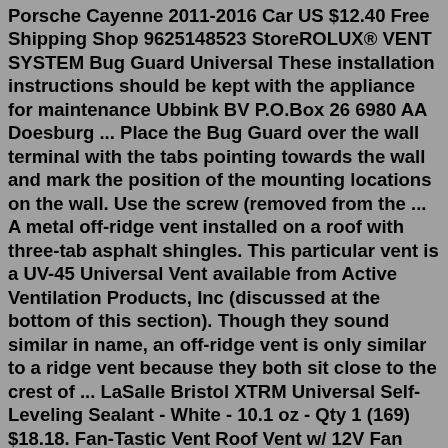Porsche Cayenne 2011-2016 Car US $12.40 Free Shipping Shop 9625148523 StoreROLUX® VENT SYSTEM Bug Guard Universal These installation instructions should be kept with the appliance for maintenance Ubbink BV P.O.Box 26 6980 AA Doesburg ... Place the Bug Guard over the wall terminal with the tabs pointing towards the wall and mark the position of the mounting locations on the wall. Use the screw (removed from the ... A metal off-ridge vent installed on a roof with three-tab asphalt shingles. This particular vent is a UV-45 Universal Vent available from Active Ventilation Products, Inc (discussed at the bottom of this section). Though they sound similar in name, an off-ridge vent is only similar to a ridge vent because they both sit close to the crest of ... LaSalle Bristol XTRM Universal Self-Leveling Sealant - White - 10.1 oz - Qty 1 (169) $18.18. Fan-Tastic Vent Roof Vent w/ 12V Fan and Remote - Powered Lift - 14-1/4" x 14-1/4" ... and there isn't a specific vent cover that is going to attach to those plastic tabs, but as long as your Dometic unit is